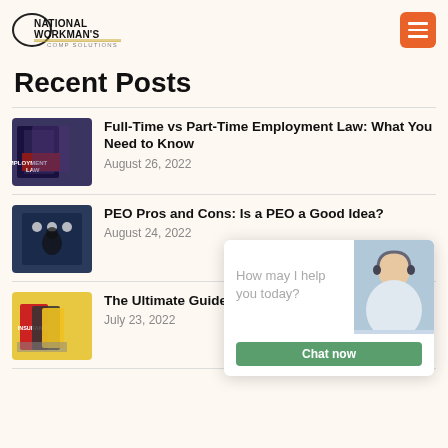NATIONAL WORKMAN'S COMP SOLUTIONS
Recent Posts
[Figure (photo): Employment law books]
Full-Time vs Part-Time Employment Law: What You Need to Know
August 26, 2022
[Figure (photo): Businessman with chess pieces — PEO Pros and Cons]
PEO Pros and Cons: Is a PEO a Good Idea?
August 24, 2022
[Figure (photo): Insurance binders and folders]
The Ultimate Guide to PEO Insurance Policies
July 23, 2022